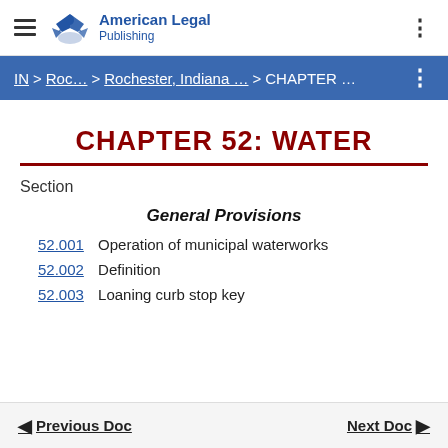American Legal Publishing
IN > Roc… > Rochester, Indiana … > CHAPTER …
CHAPTER 52:  WATER
Section
General Provisions
52.001   Operation of municipal waterworks
52.002   Definition
52.003   Loaning curb stop key
Previous Doc   Next Doc